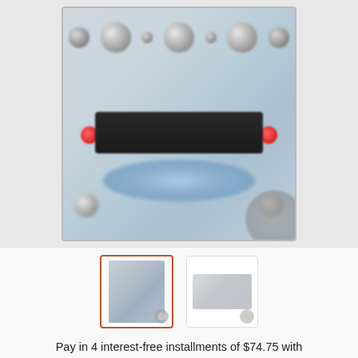[Figure (photo): Blurred close-up photo of an electronic guitar/audio effects pedal device with knobs, display, red accent dots, and blue cloud logo area. A watermark circle is visible at bottom right.]
[Figure (photo): Thumbnail strip showing two product thumbnails: first selected (orange border) showing front view of effects pedal, second showing side/back view of the device.]
Pay in 4 interest-free installments of $74.75 with